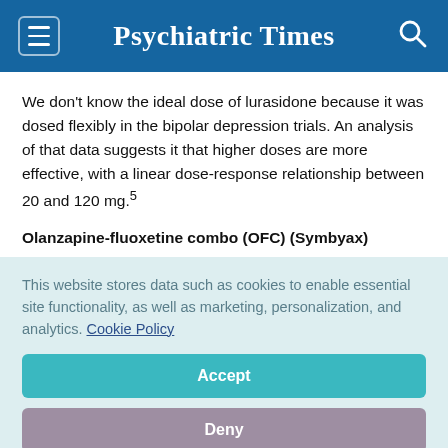Psychiatric Times
We don't know the ideal dose of lurasidone because it was dosed flexibly in the bipolar depression trials. An analysis of that data suggests it that higher doses are more effective, with a linear dose-response relationship between 20 and 120 mg.5
Olanzapine-fluoxetine combo (OFC) (Symbyax)
This website stores data such as cookies to enable essential site functionality, as well as marketing, personalization, and analytics. Cookie Policy Accept Deny